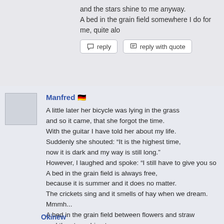and the stars shine to me anyway.
A bed in the grain field somewhere I do for me, quite alon
Manfred 🇩🇪
A little later her bicycle was lying in the grass
and so it came, that she forgot the time.
With the guitar I have told her about my life.
Suddenly she shouted: “It is the highest time,
now it is dark and my way is still long.”
However, I laughed and spoke: “I still have to give you so
A bed in the grain field is always free,
because it is summer and it does no matter.
The crickets sing and it smells of hay when we dream.
Mmmh...
A bed in the grain field between flowers and straw
and the stars shine to us anyway.
A bed in the grain field somewhere I do for us, quite alon
Okinew